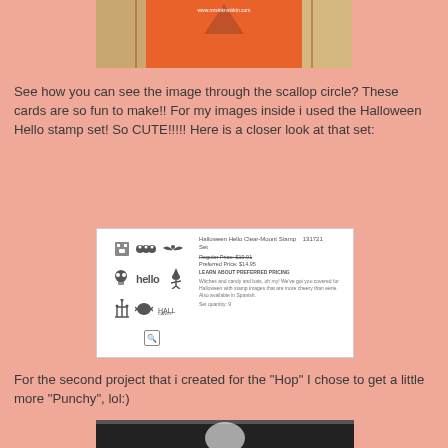[Figure (photo): Photo of orange folded card with scallop circle cutout showing image underneath, with website URL www.mrsinknsinkin.com visible]
See how you can see the image through the scallop circle?  These cards are so fun to make!! For my images inside i used the Halloween Hello stamp set! So CUTE!!!!!  Here is a closer look at that set:
[Figure (screenshot): Screenshot of Stampin Up product listing for Halloween Hello Clear Mount Stamp Set #131721. Regular Price: $19.91, Preferred Price: $14.95. LEARN ABOUT PREFERRED PRICING. Description: Witches and candy and bats, oh my! We've got you covered for Halloween with stamp images that are more cheery than eerie. Also available in Spanish. Set quantity: 9]
For the second project that i created for the "Hop" I chose to get a little more "Punchy", lol:)
[Figure (photo): Bottom portion of a second project photo, dark/black card visible at bottom edge]